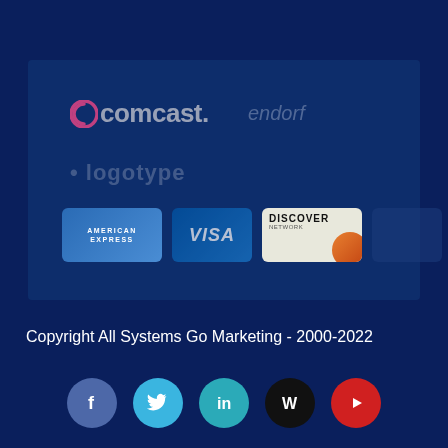[Figure (infographic): Dark blue inner box containing partner/client logos including Comcast, and payment card logos: American Express, Visa, Discover Network, and a fourth card.]
Copyright All Systems Go Marketing - 2000-2022
[Figure (infographic): Row of five social media icon buttons: Facebook (blue), Twitter (light blue), LinkedIn (teal), WordPress (black), YouTube (red)]